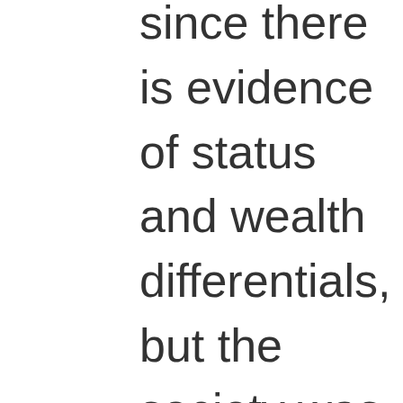since there is evidence of status and wealth differentials, but the society was clearly less hierarchical than